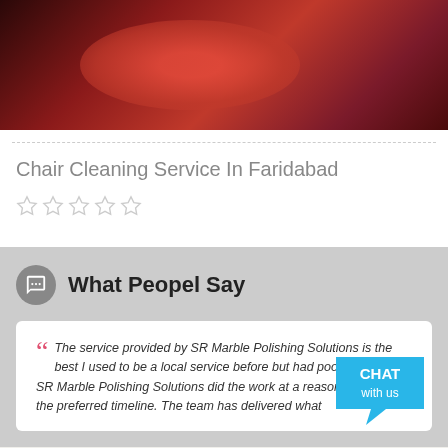[Figure (photo): Blurred photo of a red/crimson chair or cushion with dark background]
Chair Cleaning Service In Faridabad
[Figure (other): Five empty star rating icons (no stars filled)]
What Peopel Say
The service provided by SR Marble Polishing Solutions is the best I used to be a local service before but had poor results .. SR Marble Polishing Solutions did the work at a reasonable cost in the preferred timeline. The team has delivered what